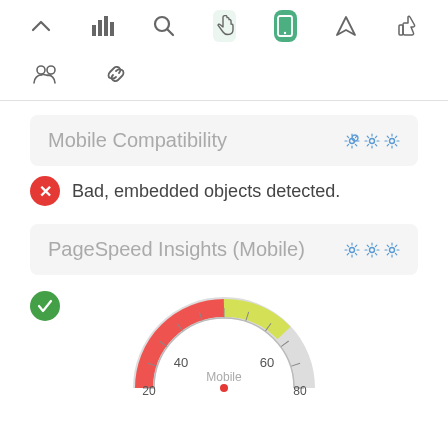[Figure (screenshot): Navigation toolbar row 1 with icons: chevron up, bar chart, search, pointer hand (light active), mobile phone (green active), send/rocket, thumbs up]
[Figure (screenshot): Navigation toolbar row 2 with icons: people/users, chain links]
Mobile Compatibility
Bad, embedded objects detected.
PageSpeed Insights (Mobile)
[Figure (other): Partial gauge/speedometer chart showing Mobile score with red/yellow color zones, labels 20, 40, 60, 80 visible along with 'Mobile' label in center]